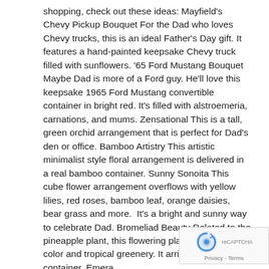shopping, check out these ideas: Mayfield's Chevy Pickup Bouquet For the Dad who loves Chevy trucks, this is an ideal Father's Day gift. It features a hand-painted keepsake Chevy truck filled with sunflowers. '65 Ford Mustang Bouquet Maybe Dad is more of a Ford guy. He'll love this keepsake 1965 Ford Mustang convertible container in bright red. It's filled with alstroemeria, carnations, and mums. Zensational This is a tall, green orchid arrangement that is perfect for Dad's den or office. Bamboo Artistry This artistic minimalist style floral arrangement is delivered in a real bamboo container. Sunny Sonoita This cube flower arrangement overflows with yellow lilies, red roses, bamboo leaf, orange daisies, bear grass and more.  It's a bright and sunny way to celebrate Dad. Bromeliad Beauty Related to the pineapple plant, this flowering plant offers bright color and tropical greenery. It arrives in a ceramic container. Emera... Garden Basket Dad will enjoy the wide range of green